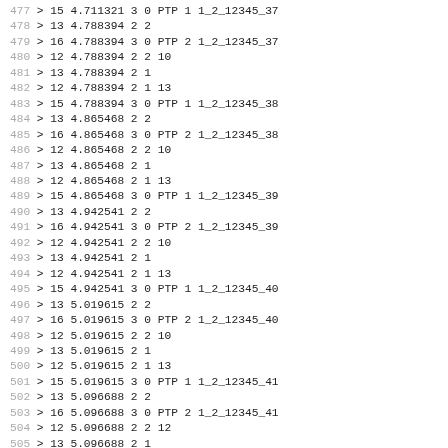477 > 15 4.711321 3 0 PTP 1 1_2_12345_37
478 > 13 4.788394 2 2
479 > 16 4.788394 3 0 PTP 2 1_2_12345_37
480 > 12 4.788394 2 2 10
481 > 13 4.788394 2 1
482 > 12 4.788394 2 1 13
483 > 15 4.788394 3 0 PTP 1 1_2_12345_38
484 > 13 4.865468 2 2
485 > 16 4.865468 3 0 PTP 2 1_2_12345_38
486 > 12 4.865468 2 2 10
487 > 13 4.865468 2 1
488 > 12 4.865468 2 1 13
489 > 15 4.865468 3 0 PTP 1 1_2_12345_39
490 > 13 4.942541 2 2
491 > 16 4.942541 3 0 PTP 2 1_2_12345_39
492 > 12 4.942541 2 2 10
493 > 13 4.942541 2 1
494 > 12 4.942541 2 1 13
495 > 15 4.942541 3 0 PTP 1 1_2_12345_40
496 > 13 5.019615 2 2
497 > 16 5.019615 3 0 PTP 2 1_2_12345_40
498 > 12 5.019615 2 2 10
499 > 13 5.019615 2 1
500 > 12 5.019615 2 1 13
501 > 15 5.019615 3 0 PTP 1 1_2_12345_41
502 > 13 5.096688 2 2
503 > 16 5.096688 3 0 PTP 2 1_2_12345_41
504 > 12 5.096688 2 2 12
505 > 13 5.096688 2 1
506 > 12 5.096688 2 1 12
507 > 13 5.098664 2 1
508 > 12 5.098664 2 1 13
509 > 15 5.098664 3 0 PTP 1 1_2_12345_42